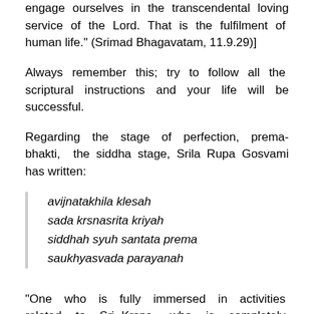engage ourselves in the transcendental loving service of the Lord. That is the fulfilment of human life." (Srimad Bhagavatam, 11.9.29)]
Always remember this; try to follow all the scriptural instructions and your life will be successful.
Regarding the stage of perfection, prema-bhakti, the siddha stage, Srila Rupa Gosvami has written:
avijnatakhila klesah
sada krsnasrita kriyah
siddhah syuh santata prema
saukhyasvada parayanah
"One who is fully immersed in activities related to Sri Krsna, who is completely unacquainted with impediments (vighna) or material distress (klesa) and who incessantly tastes the bliss of prema is called a